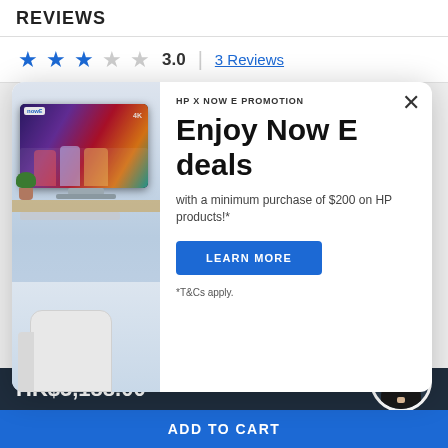REVIEWS
★★★☆☆ 3.0 | 3 Reviews
[Figure (screenshot): HP X Now E Promotion modal popup showing a TV display image on the left and promotion text on the right. Close button (X) in top right. Promotion text: HP X NOW E PROMOTION, Enjoy Now E deals, with a minimum purchase of $200 on HP products!*, LEARN MORE button, *T&Cs apply.]
HK$5,188.00
ADD TO CART